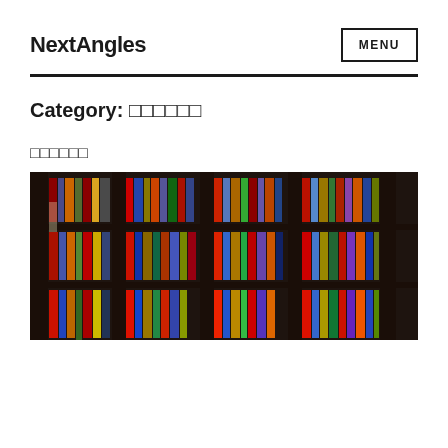NextAngles
Category: ??????
??????
[Figure (photo): Library bookshelf filled with colorful books arranged on dark wooden shelves]